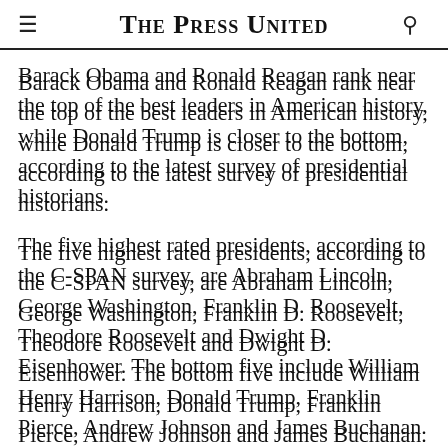The Press United
Barack Obama and Ronald Reagan rank near the top of the best leaders in American history, while Donald Trump is closer to the bottom, according to the latest survey of presidential historians.
The five highest rated presidents, according to the C-SPAN survey, are Abraham Lincoln, George Washington, Franklin D. Roosevelt, Theodore Roosevelt and Dwight D. Eisenhower. The bottom five include William Henry Harrison, Donald Trump, Franklin Pierce, Andrew Johnson and James Buchanan.